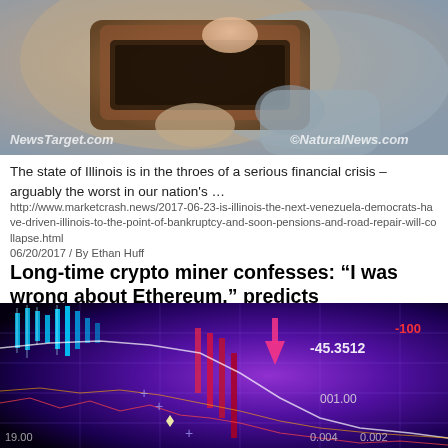[Figure (photo): Close-up photo of a person's hands holding an empty brown leather wallet, suggesting financial difficulty. Watermarks 'NewsTarget.com' and 'NaturalNews.com' visible.]
The state of Illinois is in the throes of a serious financial crisis – arguably the worst in our nation's …
http://www.marketcrash.news/2017-06-23-is-illinois-the-next-venezuela-democrats-have-driven-illinois-to-the-point-of-bankruptcy-and-soon-pensions-and-road-repair-will-collapse.html
06/20/2017 / By Ethan Huff
Long-time crypto miner confesses: “I was wrong about Ethereum,” predicts catastrophic crash of numerous crypto currency bubbles
[Figure (photo): Dark purple-toned financial trading chart with candlestick patterns, glowing grid lines, numbers including -45.3512, -100, 001.00, 0.002, 0.004, 19.00 visible on the screen display.]